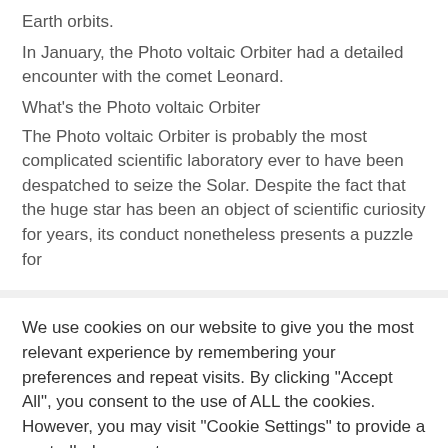Earth orbits.
In January, the Photo voltaic Orbiter had a detailed encounter with the comet Leonard.
What's the Photo voltaic Orbiter
The Photo voltaic Orbiter is probably the most complicated scientific laboratory ever to have been despatched to seize the Solar. Despite the fact that the huge star has been an object of scientific curiosity for years, its conduct nonetheless presents a puzzle for
We use cookies on our website to give you the most relevant experience by remembering your preferences and repeat visits. By clicking "Accept All", you consent to the use of ALL the cookies. However, you may visit "Cookie Settings" to provide a controlled consent.